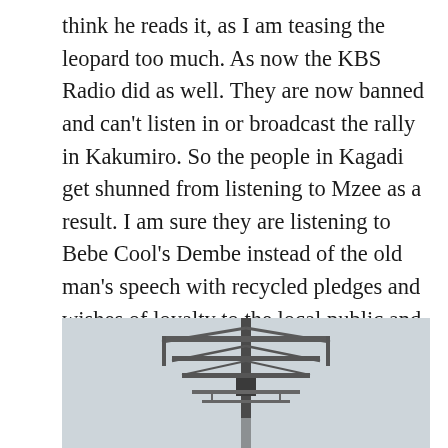think he reads it, as I am teasing the leopard too much. As now the KBS Radio did as well. They are now banned and can't listen in or broadcast the rally in Kakumiro. So the people in Kagadi get shunned from listening to Mzee as a result. I am sure they are listening to Bebe Cool's Dembe instead of the old man's speech with recycled pledges and wishes of loyalty to the local public and voter tourism to Kakumiro town. This is something that the radio listeners don't really need. KBS radio will be Mzee free because of this and get other views and voices.
[Figure (photo): A photograph of a radio antenna tower against a grey sky, showing metal crossbar antenna structure on a pole.]